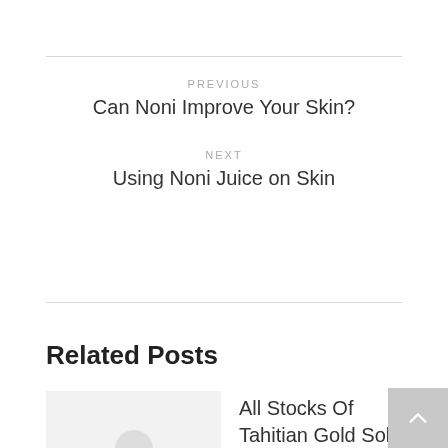PREVIOUS
Can Noni Improve Your Skin?
NEXT
Using Noni Juice on Skin
Related Posts
All Stocks Of Tahitian Gold Sold Out – Shipment Delayed
[Figure (photo): Thumbnail placeholder image with circular icon]